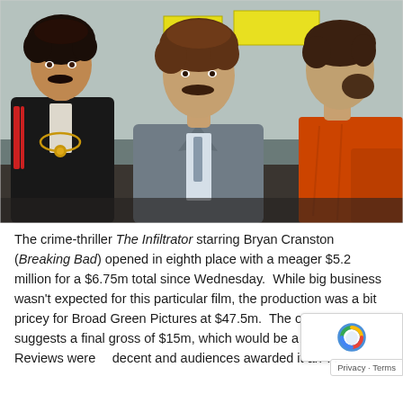[Figure (photo): Still from the film The Infiltrator showing three men in a room — a man in a dark jacket with gold chain on the left, a tall man in a gray suit with a mustache in the center, and a man in an orange shirt seen from behind on the right.]
The crime-thriller The Infiltrator starring Bryan Cranston (Breaking Bad) opened in eighth place with a meager $5.2 million for a $6.75m total since Wednesday.  While big business wasn't expected for this particular film, the production was a bit pricey for Broad Green Pictures at $47.5m.  The opening gross suggests a final gross of $15m, which would be a major loss.  Reviews were decent and audiences awarded it an 'A-'